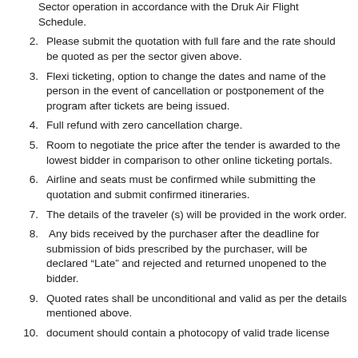Sector operation in accordance with the Druk Air Flight Schedule.
2. Please submit the quotation with full fare and the rate should be quoted as per the sector given above.
3. Flexi ticketing, option to change the dates and name of the person in the event of cancellation or postponement of the program after tickets are being issued.
4. Full refund with zero cancellation charge.
5. Room to negotiate the price after the tender is awarded to the lowest bidder in comparison to other online ticketing portals.
6. Airline and seats must be confirmed while submitting the quotation and submit confirmed itineraries.
7. The details of the traveler (s) will be provided in the work order.
8. Any bids received by the purchaser after the deadline for submission of bids prescribed by the purchaser, will be declared “Late” and rejected and returned unopened to the bidder.
9. Quoted rates shall be unconditional and valid as per the details mentioned above.
10. document should contain a photocopy of valid trade license